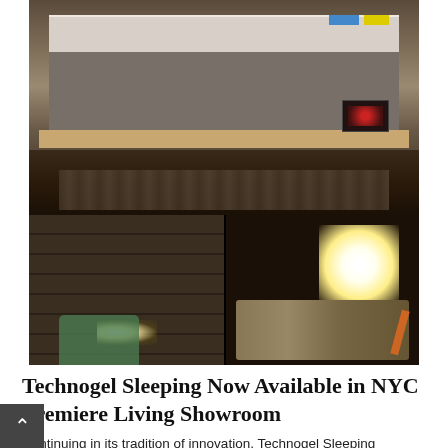[Figure (photo): Three photographs of a bed/sleeping setup. Top image shows a mattress elevated on a wooden bed frame from below. Bottom-left shows a dark room with shelving and a flashlight beam. Bottom-right shows a bright light source with a person lying in bed.]
Technogel Sleeping Now Available in NYC Premiere Living Showroom
Continuing in its tradition of innovation, Technogel Sleeping launched its retail presence in New York City as part of a living showroom that is the first of its kind. Now available at Design-Apart New York in the Chelsea/Flatiron